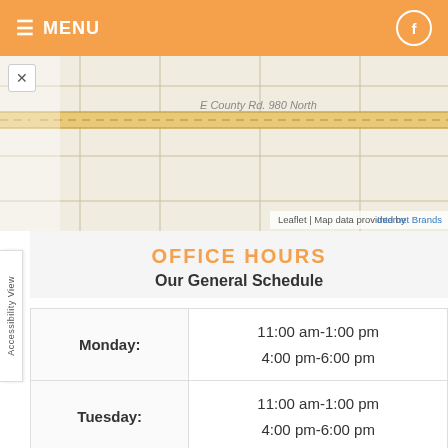≡ MENU  [Facebook icon]
[Figure (map): Street map showing E County Rd 980 North with grid lines and road markings]
OFFICE HOURS
Our General Schedule
| Day | Hours |
| --- | --- |
| Monday: | 11:00 am-1:00 pm
4:00 pm-6:00 pm |
| Tuesday: | 11:00 am-1:00 pm
4:00 pm-6:00 pm |
| Wednesday: | 11:00 am-1:00 pm
4:00 pm-6:00 pm |
| Thursday: | 11:00 am-1:00 pm |